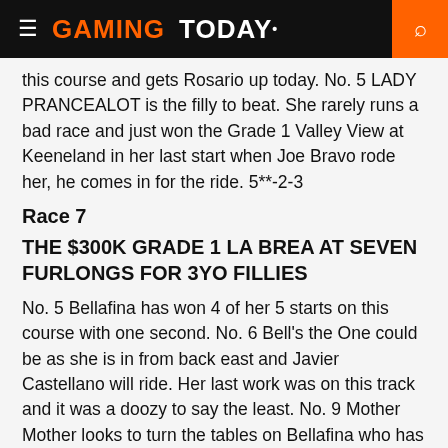GAMING TODAY
this course and gets Rosario up today. No. 5 LADY PRANCEALOT is the filly to beat. She rarely runs a bad race and just won the Grade 1 Valley View at Keeneland in her last start when Joe Bravo rode her, he comes in for the ride. 5**-2-3
Race 7
THE $300K GRADE 1 LA BREA AT SEVEN FURLONGS FOR 3YO FILLIES
No. 5 Bellafina has won 4 of her 5 starts on this course with one second. No. 6 Bell's the One could be as she is in from back east and Javier Castellano will ride. Her last work was on this track and it was a doozy to say the least. No. 9 Mother Mother looks to turn the tables on Bellafina who has beat here three times.